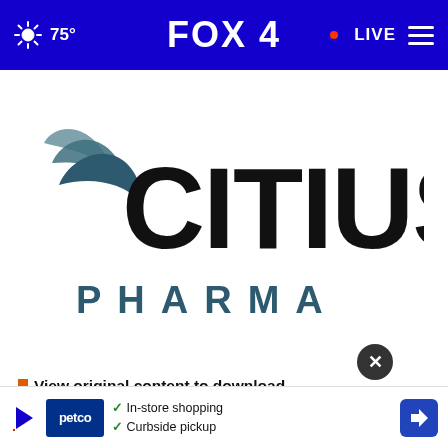FOX 4  75°  LIVE
[Figure (logo): Citius Pharma logo — teal feather/wing swoosh beside bold black CITIUS text, with PHARMA in spaced teal capitals below]
View original content to download multimedia: https://www.prnewswire.com/news-releases/citius-pharmaceuticals-inc-announces-inten... asset-
[Figure (screenshot): Petco advertisement overlay showing play button, Petco logo, In-store shopping and Curbside pickup checkmarks, navigation arrow icon, and close X button]